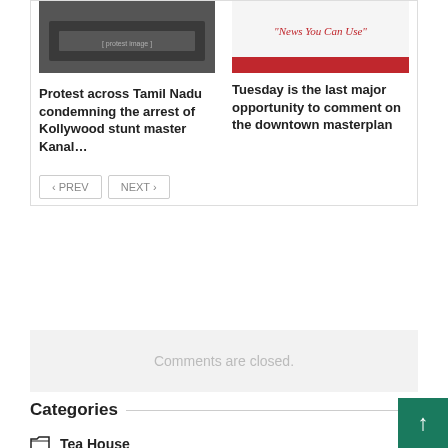[Figure (photo): Protest image showing people with Tamil Nadu political banner]
Protest across Tamil Nadu condemning the arrest of Kollywood stunt master Kanal…
[Figure (screenshot): News website header with italic red text 'News You Can Use' and a red bar below]
Tuesday is the last major opportunity to comment on the downtown masterplan
< PREV   NEXT >
Comments are closed.
Categories
Tea House
Tea Life